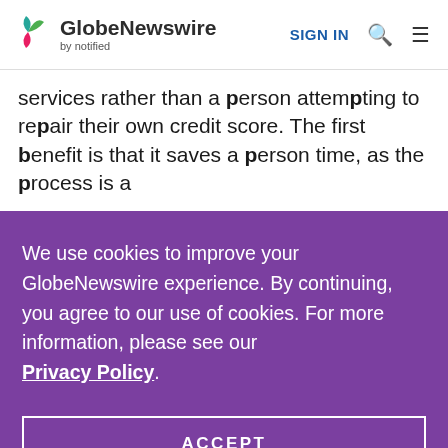GlobeNewswire by notified | SIGN IN
services rather than a person attempting to repair their own credit score. The first benefit is that it saves a person time, as the process is a
We use cookies to improve your GlobeNewswire experience. By continuing, you agree to our use of cookies. For more information, please see our Privacy Policy.
ACCEPT